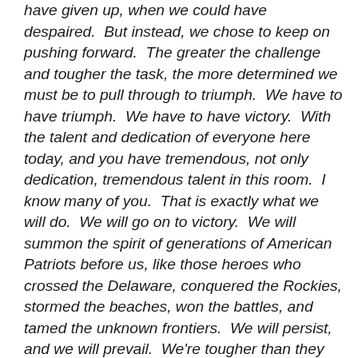have given up, when we could have despaired.  But instead, we chose to keep on pushing forward.  The greater the challenge and tougher the task, the more determined we must be to pull through to triumph.  We have to have triumph.  We have to have victory.  With the talent and dedication of everyone here today, and you have tremendous, not only dedication, tremendous talent in this room.  I know many of you.  That is exactly what we will do.  We will go on to victory.  We will summon the spirit of generations of American Patriots before us, like those heroes who crossed the Delaware, conquered the Rockies, stormed the beaches, won the battles, and tamed the unknown frontiers.  We will persist, and we will prevail.  We're tougher than they are.  We're stronger than they are.   Together, in the coming years, we will carry forward the torch of American Liberty.  We will lead the